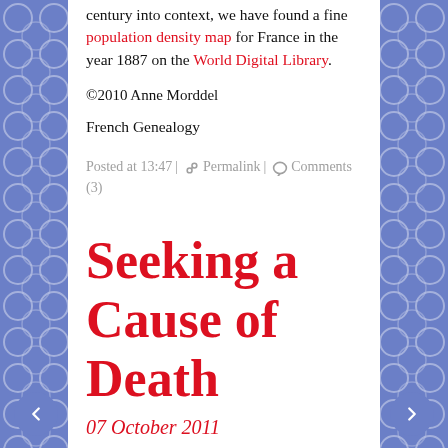century into context, we have found a fine population density map for France in the year 1887 on the World Digital Library.
©2010 Anne Morddel
French Genealogy
Posted at 13:47 | ⚙ Permalink | 💬 Comments (3)
Seeking a Cause of Death
07 October 2011